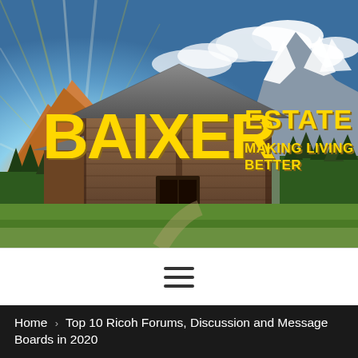[Figure (photo): Hero banner image showing a rustic wooden barn in a mountain landscape with green fields and dramatic sky with sun rays. Overlaid with the Baixer Estate logo in large yellow distressed block letters with the tagline 'Making Living Better'.]
[Figure (other): Hamburger menu icon with three horizontal lines]
Home > Top 10 Ricoh Forums, Discussion and Message Boards in 2020